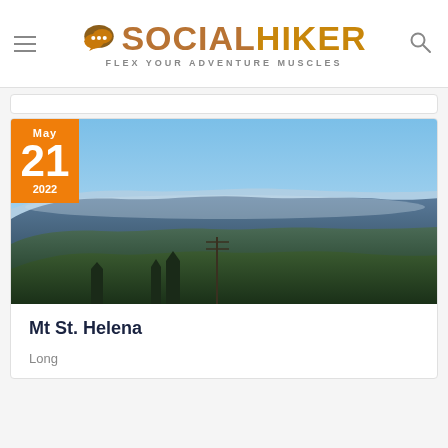SOCIAL HIKER — FLEX YOUR ADVENTURE MUSCLES
[Figure (photo): Mountain panoramic landscape photo showing rolling forested hills, valleys and distant mountains under a clear blue sky — article hero image for Mt St. Helena post dated May 21, 2022]
Mt St. Helena
Long